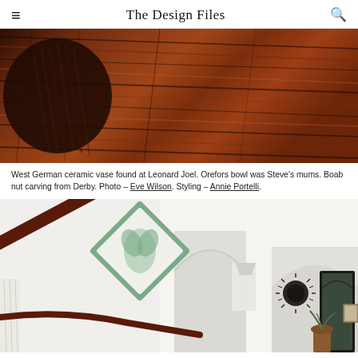The Design Files
[Figure (photo): Close-up photo of a dark wooden surface with rich grain texture, with a ridged dark ceramic/wooden vase partially visible on the left side.]
West German ceramic vase found at Leonard Joel. Orefors bowl was Steve's mums. Boab nut carving from Derby. Photo – Eve Wilson. Styling – Annie Portelli.
[Figure (photo): Interior photo showing a white staircase with dark timber handrail and white spindles. On the wall is a green decorative diamond-shaped mirror with botanical design. In the background are white arched doorways, a sunburst wall clock, a tall arched mirror, and various decorative objects including plants and framed artwork.]